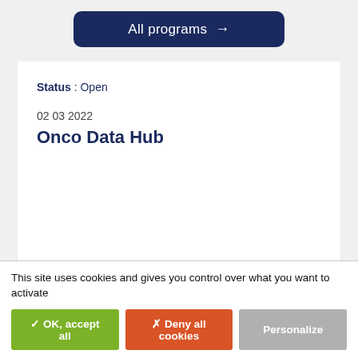[Figure (other): Dark navy blue button labeled 'All programs →']
Status : Open
02 03 2022
Onco Data Hub
This site uses cookies and gives you control over what you want to activate
✓ OK, accept all
✗ Deny all cookies
Personalize